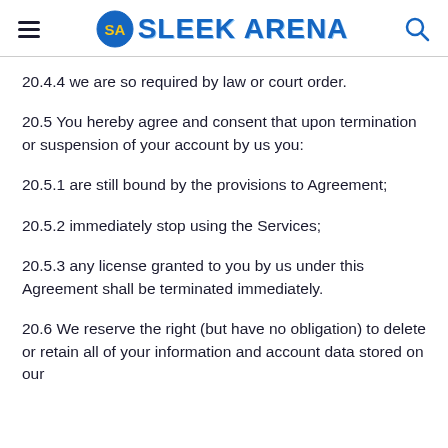SLEEK ARENA
20.4.4 we are so required by law or court order.
20.5 You hereby agree and consent that upon termination or suspension of your account by us you:
20.5.1 are still bound by the provisions to Agreement;
20.5.2 immediately stop using the Services;
20.5.3 any license granted to you by us under this Agreement shall be terminated immediately.
20.6 We reserve the right (but have no obligation) to delete or retain all of your information and account data stored on our